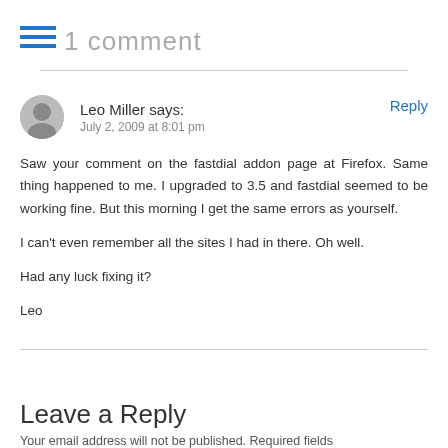1 comment
Leo Miller says:
July 2, 2009 at 8:01 pm

Saw your comment on the fastdial addon page at Firefox. Same thing happened to me. I upgraded to 3.5 and fastdial seemed to be working fine. But this morning I get the same errors as yourself.

I can't even remember all the sites I had in there. Oh well.

Had any luck fixing it?

Leo
Leave a Reply
Your email address will not be published. Required fields